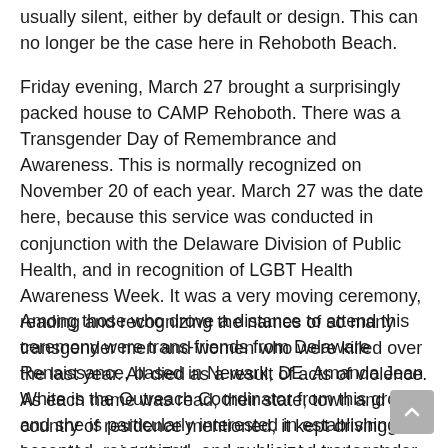usually silent, either by default or design. This can no longer be the case here in Rehoboth Beach.
Friday evening, March 27 brought a surprisingly packed house to CAMP Rehoboth. There was a Transgender Day of Remembrance and Awareness. This is normally recognized on November 20 of each year. March 27 was the date here, because this service was conducted in conjunction with the Delaware Division of Public Health, and in recognition of LGBT Health Awareness Week. It was a very moving ceremony, reading and recognizing the names of so many transgender men and women who were killed over the last year. All died as a result of acts of violence. As each name was read, their state, town and country of residence mentioned, it kept driving home the point that these were real people who died too early in their lives.
Among those who drove a distance to attend this ceremony were trans-friends from Delaware Renaissance, based in Newark, DE. Amanda Jean White is the Outreach Coordinator from this group, and she is particularly interested in establishing an accepted, recognized, and publicized transgender support group in Rehoboth Beach.